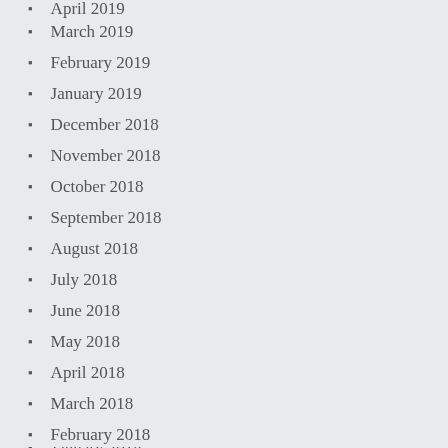April 2019 (partial, top)
March 2019
February 2019
January 2019
December 2018
November 2018
October 2018
September 2018
August 2018
July 2018
June 2018
May 2018
April 2018
March 2018
February 2018
January 2018 (partial, bottom)